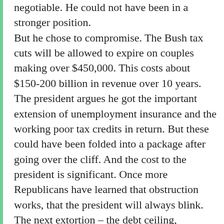negotiable. He could not have been in a stronger position. But he chose to compromise. The Bush tax cuts will be allowed to expire on couples making over $450,000. This costs about $150-200 billion in revenue over 10 years. The president argues he got the important extension of unemployment insurance and the working poor tax credits in return. But these could have been folded into a package after going over the cliff. And the cost to the president is significant. Once more Republicans have learned that obstruction works, that the president will always blink. The next extortion – the debt ceiling, automatic sequester – in the next eight weeks makes this a big deal. The President says sensibly that he will not negotiate over lifting the debt ceiling. Period. And now there is even less reason for the